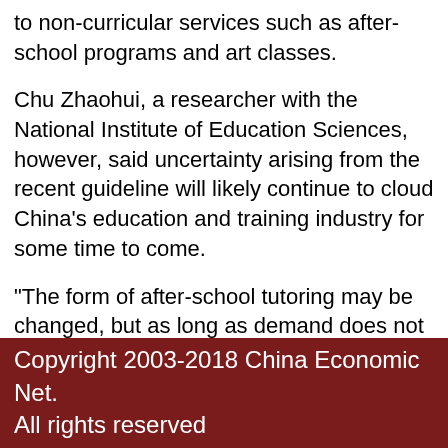to non-curricular services such as after-school programs and art classes.
Chu Zhaohui, a researcher with the National Institute of Education Sciences, however, said uncertainty arising from the recent guideline will likely continue to cloud China's education and training industry for some time to come.
"The form of after-school tutoring may be changed, but as long as demand does not decrease, off-campus training institutions may continue to exist," said Chu. "Now, it's like the first domino has overturned. It remains to be seen to what extent the policy will affect the whole industry."
【Editor:Fu Bo】
Copyright 2003-2018 China Economic Net. All rights reserved